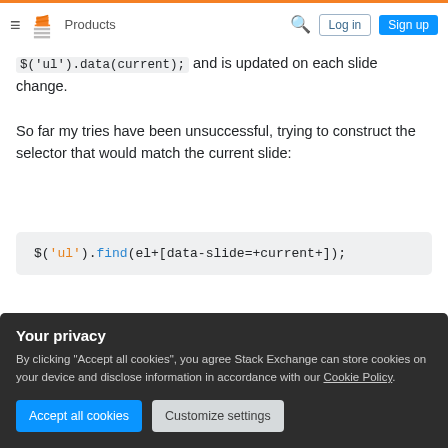Stack Overflow navbar with Products, Log in, Sign up
$('ul').data(current); and is updated on each slide change.
So far my tries have been unsuccessful, trying to construct the selector that would match the current slide:
[Figure (screenshot): Code block showing: $('ul').find(el+[data-slide=+current+]);]
does not match/return anything...
Your privacy
By clicking "Accept all cookies", you agree Stack Exchange can store cookies on your device and disclose information in accordance with our Cookie Policy.
Accept all cookies  Customize settings